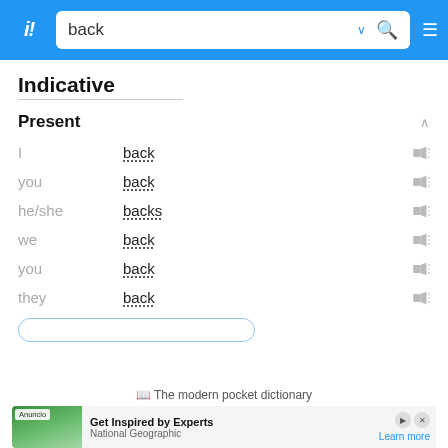back [search bar]
Indicative
Present
| pronoun | verb form |
| --- | --- |
| I | back |
| you | back |
| he/she | backs |
| we | back |
| you | back |
| they | back |
📖 The modern pocket dictionary
[Figure (screenshot): Advertisement banner: Get Inspired by Experts — National Geographic. Learn more.]